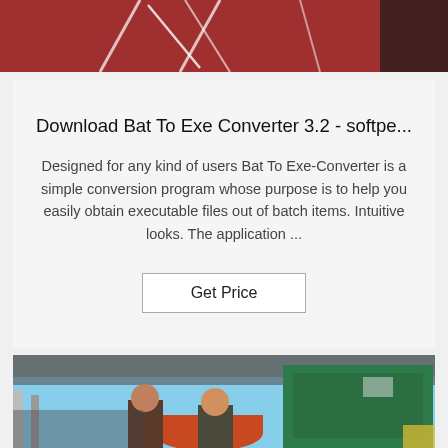[Figure (photo): Top portion of a photo showing a red/terracotta roof or solar panel structure with white diagonal lines/pipes against a dark background.]
Download Bat To Exe Converter 3.2 - softpe...
Designed for any kind of users Bat To Exe-Converter is a simple conversion program whose purpose is to help you easily obtain executable files out of batch items. Intuitive looks. The application ...
Get Price
[Figure (photo): Photo of two men standing in front of industrial equipment including a large green machine/press and orange/cylindrical components, outdoors under a canopy with blue sky visible.]